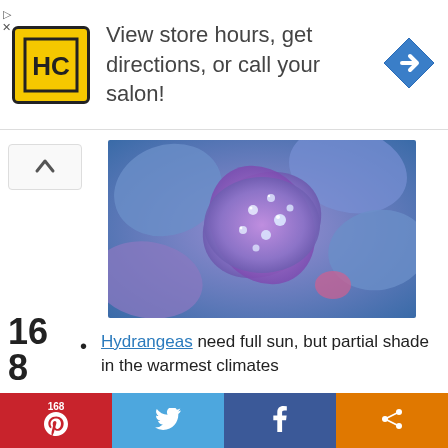[Figure (other): Advertisement banner: HC logo (yellow square with HC letters), text 'View store hours, get directions, or call your salon!', blue diamond arrow icon]
[Figure (photo): Close-up photo of blue and purple hydrangea flowers with water droplets on petals]
Hydrangeas need full sun, but partial shade in the warmest climates
Flowers from the start of summer and
[Figure (other): Social share bar with Pinterest (168 shares), Twitter, Facebook, and share buttons]